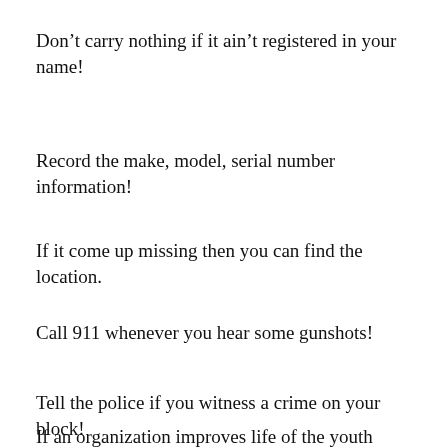Don't carry nothing if it ain't registered in your name!
Record the make, model, serial number information!
If it come up missing then you can find the location.
Call 911 whenever you hear some gunshots!
Tell the police if you witness a crime on your block!
If an organization improves life of the youth